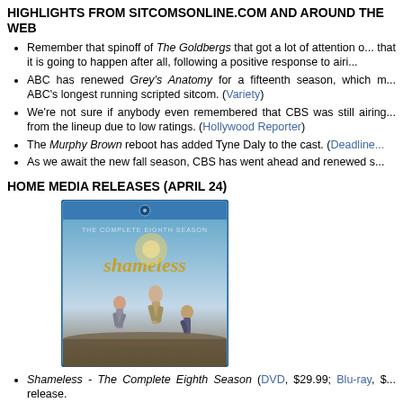HIGHLIGHTS FROM SITCOMSONLINE.COM AND AROUND THE WEB
Remember that spinoff of The Goldbergs that got a lot of attention o... that it is going to happen after all, following a positive response to airi...
ABC has renewed Grey's Anatomy for a fifteenth season, which m... ABC's longest running scripted sitcom. (Variety)
We're not sure if anybody even remembered that CBS was still airing... from the lineup due to low ratings. (Hollywood Reporter)
The Murphy Brown reboot has added Tyne Daly to the cast. (Deadline...
As we await the new fall season, CBS has went ahead and renewed s...
HOME MEDIA RELEASES (APRIL 24)
[Figure (photo): Blu-ray cover art for Shameless: The Complete Eighth Season, showing three characters in a dramatic pose on a blue Blu-ray case.]
Shameless - The Complete Eighth Season (DVD, $29.99; Blu-ray, $... release.